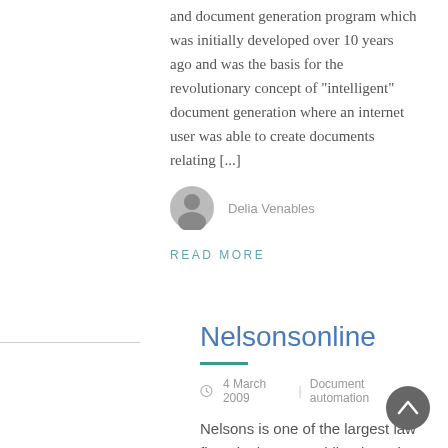and document generation program which was initially developed over 10 years ago and was the basis for the revolutionary concept of "intelligent" document generation where an internet user was able to create documents relating [...]
Delia Venables
READ MORE
Nelsonsonline
4 March 2009   Document automation
Nelsons is one of the largest law firms in the East Midlands and has gained recognition for its dynamic growth and forward thinking. We now have 30